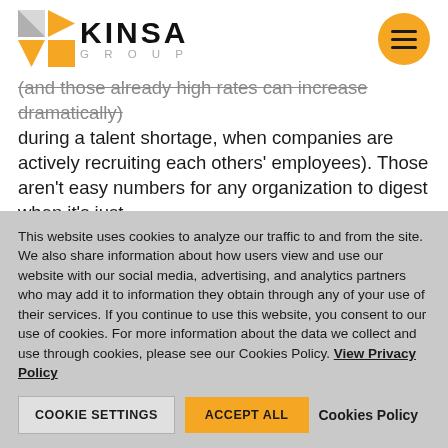KINSA GROUP
(and those already high rates can increase dramatically during a talent shortage, when companies are actively recruiting each others' employees). Those aren't easy numbers for any organization to digest when it's just
This website uses cookies to analyze our traffic to and from the site. We also share information about how users view and use our website with our social media, advertising, and analytics partners who may add it to information they obtain through any of your use of their services. If you continue to use this website, you consent to our use of cookies. For more information about the data we collect and use through cookies, please see our Cookies Policy. View Privacy Policy
COOKIE SETTINGS  ACCEPT ALL  Cookies Policy